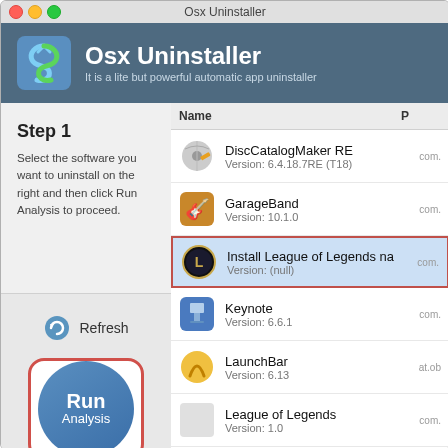Osx Uninstaller
Osx Uninstaller
It is a lite but powerful automatic app uninstaller
Step 1
Select the software you want to uninstall on the right and then click Run Analysis to proceed.
[Figure (screenshot): Refresh button with circular arrows icon]
[Figure (screenshot): Run Analysis circular blue button with red rounded-rectangle border]
| Name | P |
| --- | --- |
| DiscCatalogMaker RE
Version: 6.4.18.7RE (T18) | com. |
| GarageBand
Version: 10.1.0 | com. |
| Install League of Legends na
Version: (null) | com. |
| Keynote
Version: 6.6.1 | com. |
| LaunchBar
Version: 6.13 | at.ob |
| League of Legends
Version: 1.0 | com. |
| Live Screen Capture
Version: 1.1 | com. |
| Numbers
Version: 3.6.1 | com. |